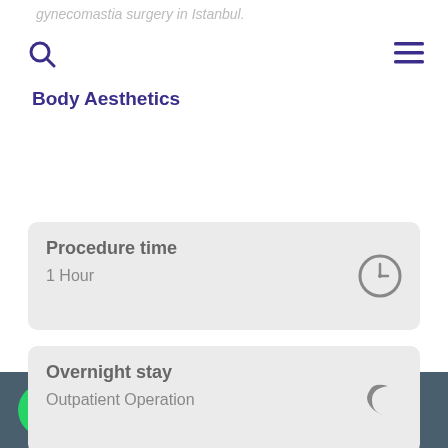gynecomastia surgery in Istanbul.
Body Aesthetics
Procedure time
1 Hour
Overnight stay
Outpatient Operation
Anaesthesia
General Anaesthesia
WhatsApp